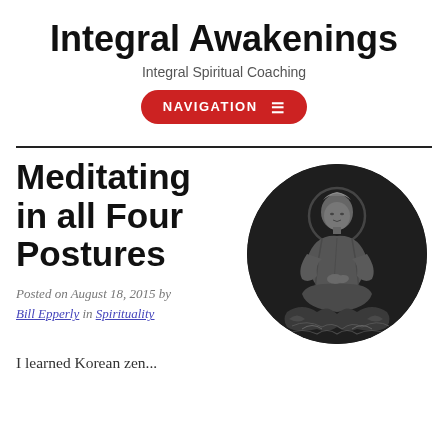Integral Awakenings
Integral Spiritual Coaching
NAVIGATION ☰
Meditating in all Four Postures
Posted on August 18, 2015 by Bill Epperly in Spirituality
[Figure (photo): Black and white circular photo of a seated Buddhist statue (Bodhisattva), shown meditating on clouds, with a halo, in a detailed sculptural style.]
I learned Korean zen...